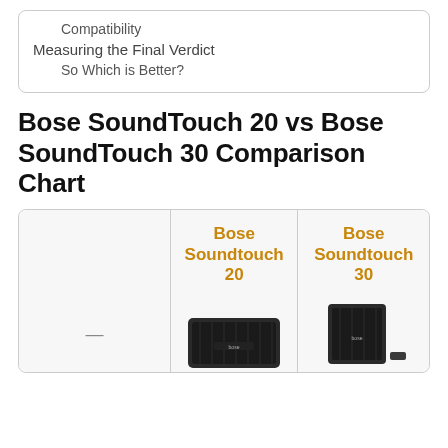Compatibility
Measuring the Final Verdict
So Which is Better?
Bose SoundTouch 20 vs Bose SoundTouch 30 Comparison Chart
|  | Bose Soundtouch 20 | Bose Soundtouch 30 |
| --- | --- | --- |
| — | [image of Bose Soundtouch 20] | [image of Bose Soundtouch 30] |